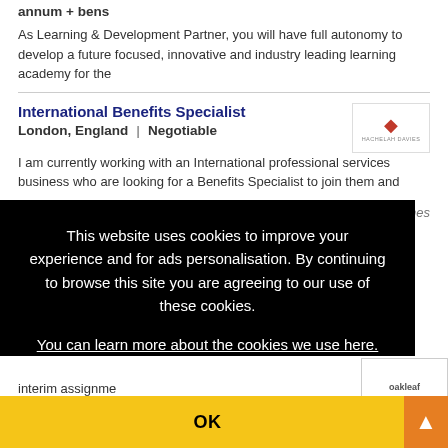annum + bens
As Learning & Development Partner, you will have full autonomy to develop a future focused, innovative and industry leading learning academy for the
International Benefits Specialist
London, England | Negotiable
I am currently working with an International professional services business who are looking for a Benefits Specialist to join them and become an inte
This website uses cookies to improve your experience and for ads personalisation. By continuing to browse this site you are agreeing to our use of these cookies.
You can learn more about the cookies we use here.
OK
interim assignme